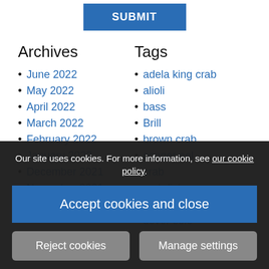SUBMIT
Archives
Tags
June 2022
May 2022
April 2022
March 2022
February 2022
January 2022
December 2021
November 2021
September 2021
adela king crab
alioli
bass
Brill
brown crab
conger eel
crab
crab fish
cuttlefish
dover sole
Our site uses cookies. For more information, see our cookie policy.
Accept cookies and close
Reject cookies
Manage settings